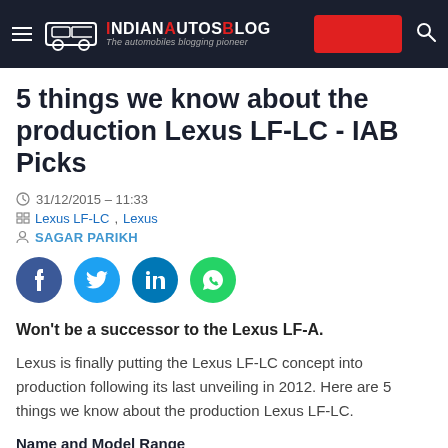IndianAutosBlog - The automobiles blogging pioneer
5 things we know about the production Lexus LF-LC - IAB Picks
31/12/2015 - 11:33
Lexus LF-LC, Lexus
SAGAR PARIKH
Won't be a successor to the Lexus LF-A.
Lexus is finally putting the Lexus LF-LC concept into production following its last unveiling in 2012. Here are 5 things we know about the production Lexus LF-LC.
Name and Model Range
[Figure (photo): Article image placeholder (grey rectangle)]